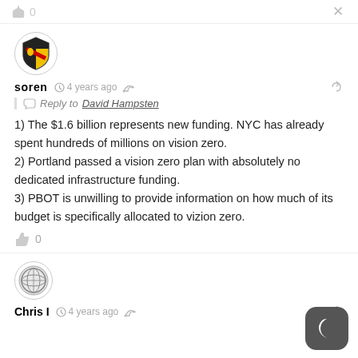[Figure (other): Top bar with thumbs up icon showing 0 and X close icon]
[Figure (illustration): User avatar: shield/crest icon (black, red, yellow) in circle for user soren]
soren  4 years ago
Reply to David Hampsten
1) The $1.6 billion represents new funding. NYC has already spent hundreds of millions on vision zero.
2) Portland passed a vision zero plan with absolutely no dedicated infrastructure funding.
3) PBOT is unwilling to provide information on how much of its budget is specifically allocated to vizion zero.
0
[Figure (illustration): User avatar: globe/lattice icon in circle for user Chris I]
Chris I  4 years ago